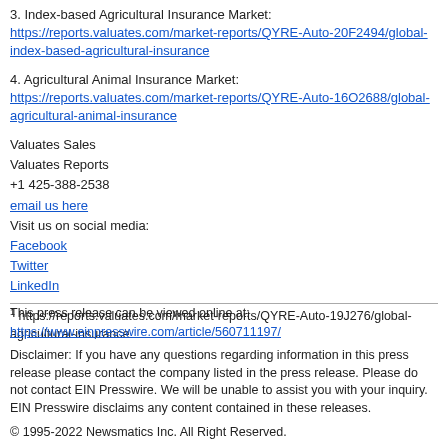3. Index-based Agricultural Insurance Market: https://reports.valuates.com/market-reports/QYRE-Auto-20F2494/global-index-based-agricultural-insurance
4. Agricultural Animal Insurance Market: https://reports.valuates.com/market-reports/QYRE-Auto-16O2688/global-agricultural-animal-insurance
Valuates Sales
Valuates Reports
+1 425-388-2538
email us here
Visit us on social media:
Facebook
Twitter
LinkedIn
1 https://reports.valuates.com/market-reports/QYRE-Auto-19J276/global-agricultural-insurance
This press release can be viewed online at:
https://www.einpresswire.com/article/560711197/
Disclaimer: If you have any questions regarding information in this press release please contact the company listed in the press release. Please do not contact EIN Presswire. We will be unable to assist you with your inquiry. EIN Presswire disclaims any content contained in these releases.
© 1995-2022 Newsmatics Inc. All Right Reserved.